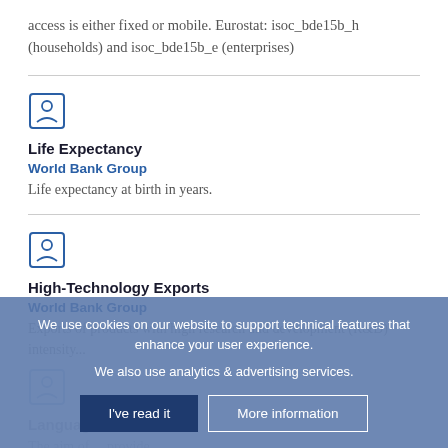access is either fixed or mobile. Eurostat: isoc_bde15b_h (households) and isoc_bde15b_e (enterprises)
Life Expectancy
World Bank Group
Life expectancy at birth in years.
High-Technology Exports
World Bank Group
Exports of products with high research and development (R&D) intensity...
Language...
The aim of... provide
We use cookies on our website to support technical features that enhance your user experience.

We also use analytics & advertising services.